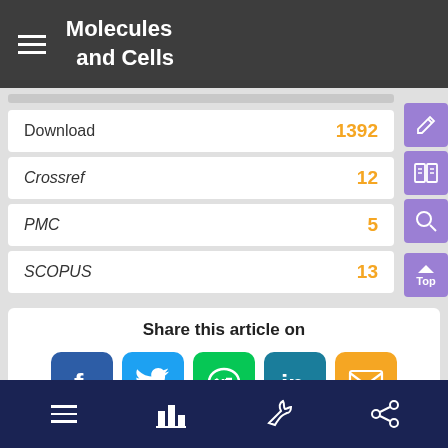Molecules and Cells
Download 1392
Crossref 12
PMC 5
SCOPUS 13
Share this article on
[Figure (screenshot): Social share buttons: Facebook, Twitter, LINE, LinkedIn, Email]
Navigation footer bar with menu, chart, wrench, and share icons